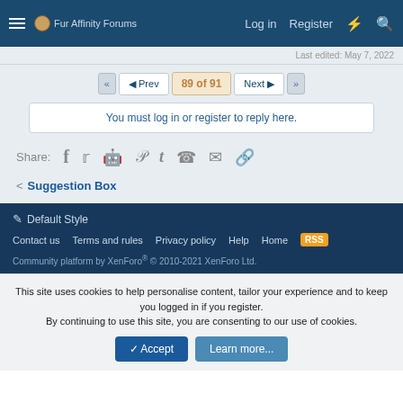Fur Affinity Forums — Log in   Register
Last edited: May 7, 2022
◄◄   ◄ Prev   89 of 91   Next ►   ►►
You must log in or register to reply here.
Share: [Facebook] [Twitter] [Reddit] [Pinterest] [Tumblr] [WhatsApp] [Email] [Link]
< Suggestion Box
Default Style
Contact us   Terms and rules   Privacy policy   Help   Home   [RSS]
Community platform by XenForo® © 2010-2021 XenForo Ltd.
This site uses cookies to help personalise content, tailor your experience and to keep you logged in if you register.
By continuing to use this site, you are consenting to our use of cookies.
[✓ Accept]   [Learn more...]